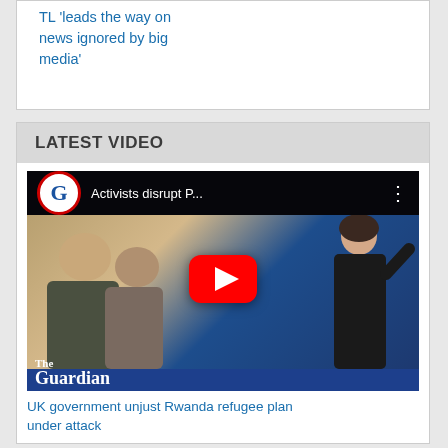TL 'leads the way on news ignored by big media'
LATEST VIDEO
[Figure (screenshot): YouTube video thumbnail showing 'Activists disrupt P...' from The Guardian channel. Features a woman speaking in black outfit, people in foreground, YouTube play button overlay, and The Guardian logo watermark.]
UK government unjust Rwanda refugee plan under attack